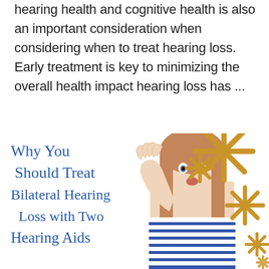hearing health and cognitive health is also an important consideration when considering when to treat hearing loss. Early treatment is key to minimizing the overall health impact hearing loss has ...
[Figure (illustration): Promotional image with a young woman cupping her hand to her ear, decorative gold asterisk/snowflake shapes in the background, and handwritten-style blue text reading 'Why You Should Treat Bilateral Hearing Loss with Two Hearing Aids']